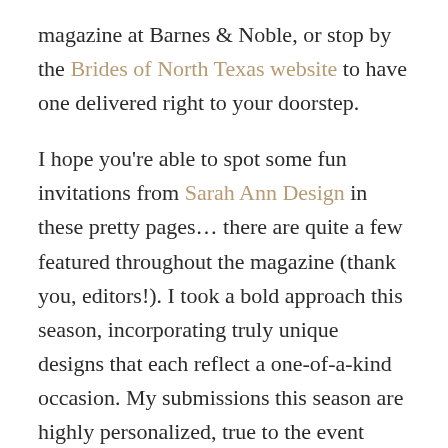magazine at Barnes & Noble, or stop by the Brides of North Texas website to have one delivered right to your doorstep.

I hope you're able to spot some fun invitations from Sarah Ann Design in these pretty pages... there are quite a few featured throughout the magazine (thank you, editors!). I took a bold approach this season, incorporating truly unique designs that each reflect a one-of-a-kind occasion. My submissions this season are highly personalized, true to the event concept